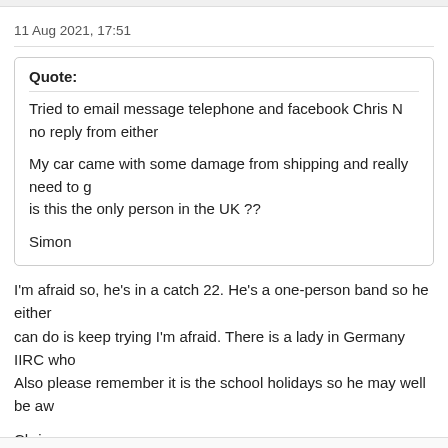11 Aug 2021, 17:51
Quote:
Tried to email message telephone and facebook Chris N no reply from either

My car came with some damage from shipping and really need to g… is this the only person in the UK ??

Simon
I'm afraid so, he's in a catch 22. He's a one-person band so he either… can do is keep trying I'm afraid. There is a lady in Germany IIRC who… Also please remember it is the school holidays so he may well be aw…

Chris
Membership Secretary DOC UK
2021's DeLorean event: http://www.deloreans.co.uk/forum/showthr...p?tid=…
VIN#15768 Ex VIN#4584